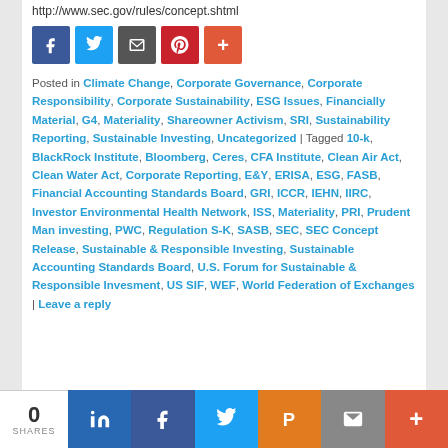http://www.sec.gov/rules/concept.shtml
[Figure (other): Social share buttons: Facebook, Twitter, Email/Print, Pinterest, More]
Posted in Climate Change, Corporate Governance, Corporate Responsibility, Corporate Sustainability, ESG Issues, Financially Material, G4, Materiality, Shareowner Activism, SRI, Sustainability Reporting, Sustainable Investing, Uncategorized | Tagged 10-k, BlackRock Institute, Bloomberg, Ceres, CFA Institute, Clean Air Act, Clean Water Act, Corporate Reporting, E&Y, ERISA, ESG, FASB, Financial Accounting Standards Board, GRI, ICCR, IEHN, IIRC, Investor Environmental Health Network, ISS, Materiality, PRI, Prudent Man investing, PWC, Regulation S-K, SASB, SEC, SEC Concept Release, Sustainable & Responsible Investing, Sustainable Accounting Standards Board, U.S. Forum for Sustainable & Responsible Invesment, US SIF, WEF, World Federation of Exchanges | Leave a reply
[Figure (other): Bottom social share bar: 0 SHARES, LinkedIn, Facebook, Twitter, Pinterest, Email, More]